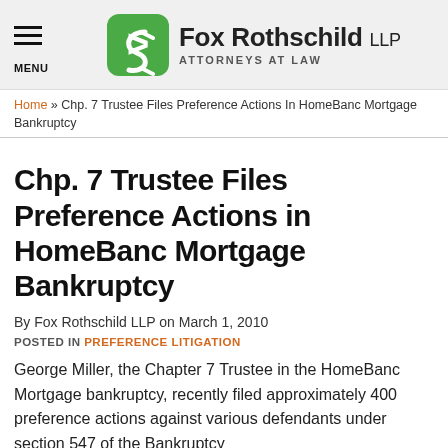Fox Rothschild LLP ATTORNEYS AT LAW
Home » Chp. 7 Trustee Files Preference Actions In HomeBanc Mortgage Bankruptcy
Chp. 7 Trustee Files Preference Actions in HomeBanc Mortgage Bankruptcy
By Fox Rothschild LLP on March 1, 2010
POSTED IN PREFERENCE LITIGATION
George Miller, the Chapter 7 Trustee in the HomeBanc Mortgage bankruptcy, recently filed approximately 400 preference actions against various defendants under section 547 of the Bankruptcy